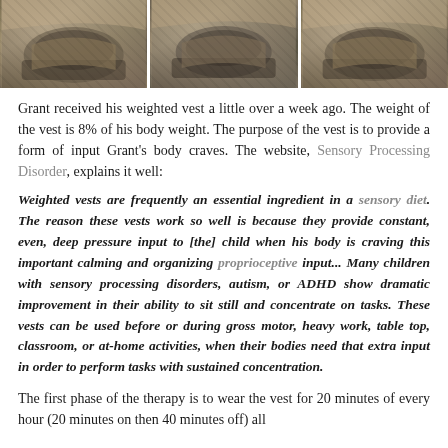[Figure (photo): Three side-by-side photos showing close-up views of what appears to be boots or feet/body parts with camouflage or fabric texture]
Grant received his weighted vest a little over a week ago. The weight of the vest is 8% of his body weight. The purpose of the vest is to provide a form of input Grant's body craves. The website, Sensory Processing Disorder, explains it well:
Weighted vests are frequently an essential ingredient in a sensory diet. The reason these vests work so well is because they provide constant, even, deep pressure input to [the] child when his body is craving this important calming and organizing proprioceptive input... Many children with sensory processing disorders, autism, or ADHD show dramatic improvement in their ability to sit still and concentrate on tasks. These vests can be used before or during gross motor, heavy work, table top, classroom, or at-home activities, when their bodies need that extra input in order to perform tasks with sustained concentration.
The first phase of the therapy is to wear the vest for 20 minutes of every hour (20 minutes on then 40 minutes off) all